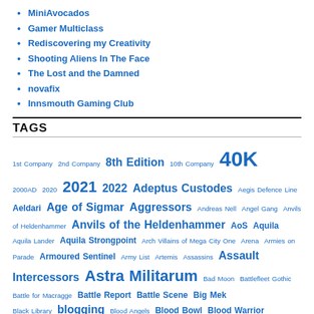MiniAvocados
Gamer Multiclass
Rediscovering my Creativity
Shooting Aliens In The Face
The Lost and the Damned
novafix
Innsmouth Gaming Club
TAGS
1st Company 2nd Company 8th Edition 10th Company 40K 2000AD 2020 2021 2022 Adeptus Custodes Aegis Defence Line Aeldari Age of Sigmar Aggressors Andreas Nell Angel Gang Anvils of Heldenhammer Anvils of the Heldenhammer AoS Aquila Aquila Lander Aquila Strongpoint Arch Villains of Mega City One Arena Armies on Parade Armoured Sentinel Army List Artemis Assassins Assault Intercessors Astra Militarum Bad Moon Battlefleet Gothic Battle for Macragge Battle Report Battle Scene Big Mek Black Library blogging Blood Angels Blood Bowl Blood Warrior Board Games Boxed Game Broken Aquila campaign Canoptek